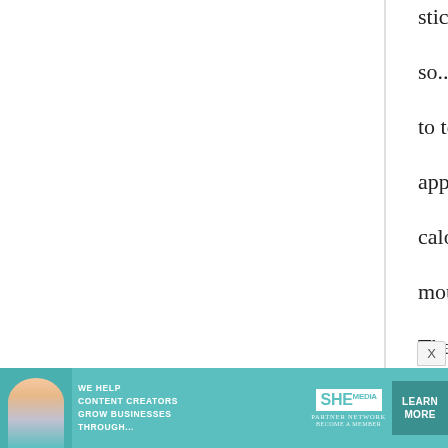stick to a diet plan

so...could i trouble you

to tell me an

approximation of the

calories, etc. of this

mouth-watering meal?

Thank you!
maki
24 July, 2008 - 17:17
permalink
If you eat the whole thing...
[Figure (infographic): Advertisement banner: SHE Media Partner Network. Text reads 'WE HELP CONTENT CREATORS GROW BUSINESSES THROUGH...' with a LEARN MORE button. Teal/cyan background.]